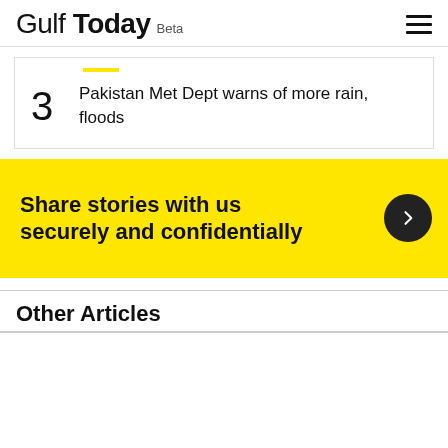Gulf Today Beta
3 Pakistan Met Dept warns of more rain, floods
Share stories with us securely and confidentially
Other Articles